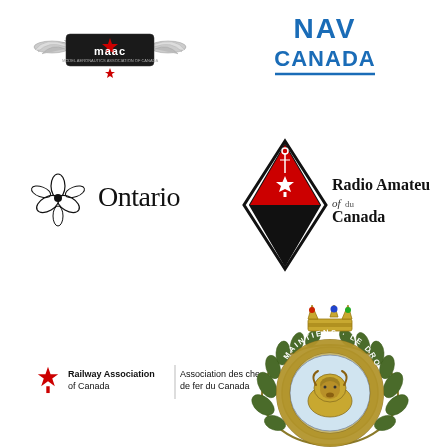[Figure (logo): MAAC (Model Aeronautics Association of Canada) logo with wings and maple leaf]
[Figure (logo): NAV CANADA logo in blue text with underline]
[Figure (logo): Ontario provincial logo with trillium flower and Ontario wordmark]
[Figure (logo): Radio Amateurs of Canada / Radio Amateurs du Canada logo with diamond shape and maple leaf]
[Figure (logo): Railway Association of Canada / Association des chemins de fer du Canada logo with maple leaf]
[Figure (logo): RCMP (Royal Canadian Mounted Police) badge/crest with crown, bison, and Maintiens le Droit motto]